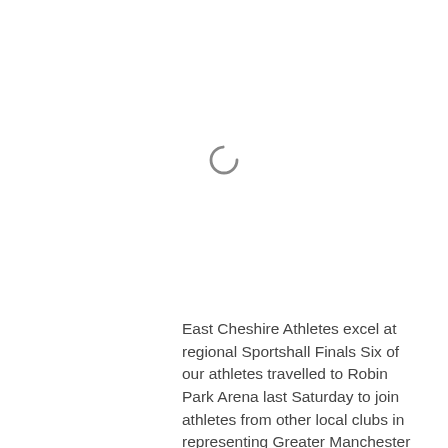[Figure (other): Loading spinner icon (circular C-shaped arc)]
East Cheshire Athletes excel at regional Sportshall Finals Six of our athletes travelled to Robin Park Arena last Saturday to join athletes from other local clubs in representing Greater Manchester in the Aviva Regional Finals. Regan Walker and Paige Ditchfield were key members of the victorious under 13 girls squad, who now travel to Birmingham for tne National Final...